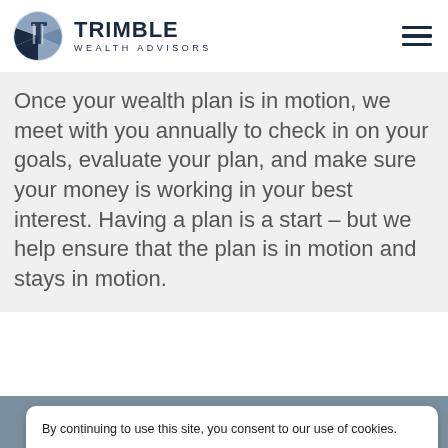[Figure (logo): Trimble Wealth Advisors logo with circular icon and text]
Once your wealth plan is in motion, we meet with you annually to check in on your goals, evaluate your plan, and make sure your money is working in your best interest. Having a plan is a start – but we help ensure that the plan is in motion and stays in motion.
[Figure (photo): Partial photo visible at bottom of page]
By continuing to use this site, you consent to our use of cookies.
ACCEPT